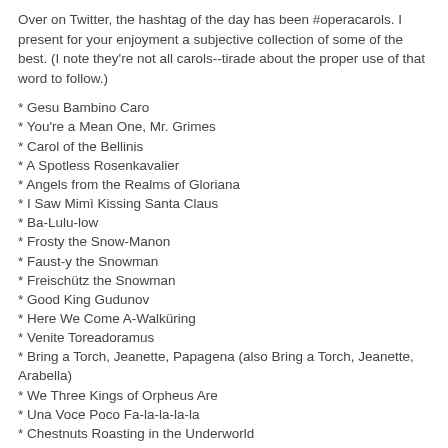Over on Twitter, the hashtag of the day has been #operacarols. I present for your enjoyment a subjective collection of some of the best. (I note they're not all carols--tirade about the proper use of that word to follow.)
* Gesu Bambino Caro
* You're a Mean One, Mr. Grimes
* Carol of the Bellinis
* A Spotless Rosenkavalier
* Angels from the Realms of Gloriana
* I Saw Mimì Kissing Santa Claus
* Ba-Lulu-low
* Frosty the Snow-Manon
* Faust-y the Snowman
* Freischütz the Snowman
* Good King Gudunov
* Here We Come A-Walküring
* Venite Toreadoramus
* Bring a Torch, Jeanette, Papagena (also Bring a Torch, Jeanette, Arabella)
* We Three Kings of Orpheus Are
* Una Voce Poco Fa-la-la-la-la
* Chestnuts Roasting in the Underworld